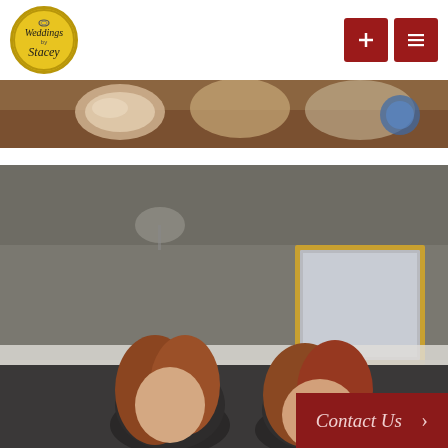[Figure (logo): Weddings by Stacey circular logo with gold/yellow background and ring icon]
[Figure (other): Two red dark-red navigation button icons in the header - a plus sign button and a menu/list button]
[Figure (photo): Top partial photo strip showing cookies or desserts on a table, brown and white tones]
[Figure (photo): Main large photo of two women with reddish hair smiling, dark/moody background with gold-framed picture on wall]
Contact Us >